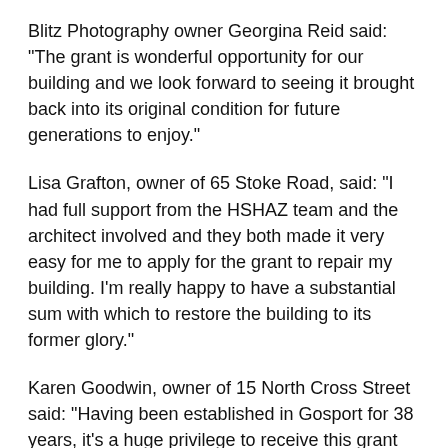Blitz Photography owner Georgina Reid said: "The grant is wonderful opportunity for our building and we look forward to seeing it brought back into its original condition for future generations to enjoy."
Lisa Grafton, owner of 65 Stoke Road, said: "I had full support from the HSHAZ team and the architect involved and they both made it very easy for me to apply for the grant to repair my building. I'm really happy to have a substantial sum with which to restore the building to its former glory."
Karen Goodwin, owner of 15 North Cross Street said: "Having been established in Gosport for 38 years, it's a huge privilege to receive this grant and restore our old and much-loved building to its original, period condition. I work with images, so the enhanced building can only give more clients a far better impression."